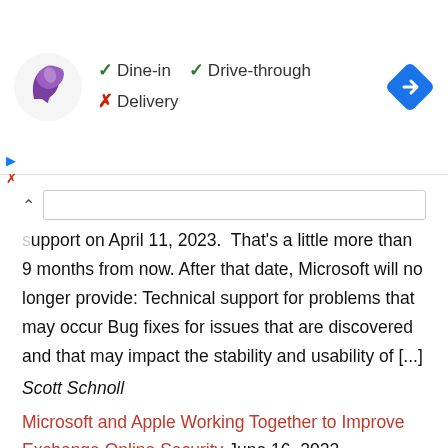[Figure (screenshot): Taco Bell ad banner showing logo with Dine-in (checkmark), Drive-through (checkmark), Delivery (X), and a navigation diamond icon on the right.]
support on April 11, 2023.  That's a little more than 9 months from now. After that date, Microsoft will no longer provide: Technical support for problems that may occur Bug fixes for issues that are discovered and that may impact the stability and usability of [...]
Scott Schnoll
Microsoft and Apple Working Together to Improve Exchange Online Security June 16, 2022
We've been working for some time with several partners to come up with ways to smoothly transition our many users from Basic authentication to something more secure: OAuth 2.0-based authentication, or 'Modern authentication' as we call it. Today we're delighted to take the next step along